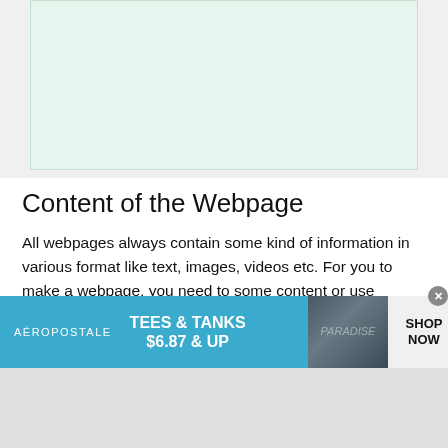[Figure (other): Light mint/green colored rectangular box at the top of the page]
Content of the Webpage
All webpages always contain some kind of information in various format like text, images, videos etc. For you to make a webpage, you need to some content or use dummy text and images.
If you just want to practice, you can copy the
[Figure (infographic): Aeropostale advertisement banner: teal/blue background with text AEROPOSTALE, TEES & TANKS $6.87 & UP, photo of clothing item, SHOP NOW text on right, with close button (x)]